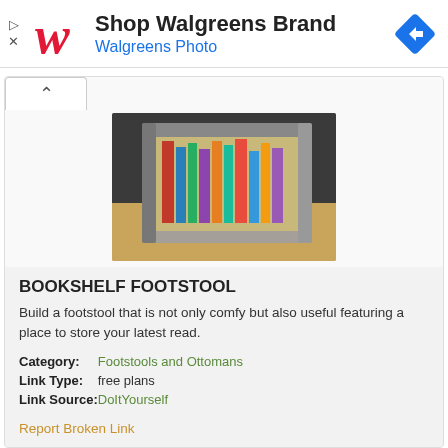[Figure (screenshot): Advertisement banner for Walgreens Brand / Walgreens Photo with Walgreens red script W logo and a blue diamond navigation icon]
[Figure (photo): Photo of a cube-shaped wooden bookshelf footstool filled with books, sitting on a wooden floor with a dark background]
BOOKSHELF FOOTSTOOL
Build a footstool that is not only comfy but also useful featuring a place to store your latest read.
| Category: | Footstools and Ottomans |
| Link Type: | free plans |
| Link Source: | DoItYourself |
Report Broken Link
[Figure (photo): Partial photo of a dark red/brown wooden footstool on what appears to be a light-colored surface]